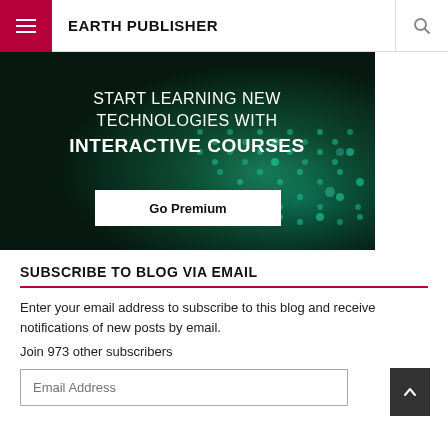EARTH PUBLISHER
[Figure (illustration): Dark teal/green dotted background banner with text 'START LEARNING NEW TECHNOLOGIES WITH INTERACTIVE COURSES' and a 'Go Premium' button]
SUBSCRIBE TO BLOG VIA EMAIL
Enter your email address to subscribe to this blog and receive notifications of new posts by email.
Join 973 other subscribers